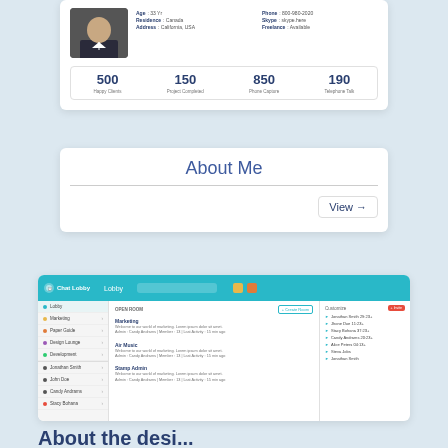[Figure (screenshot): Profile card with avatar, contact info stats (500 Happy Clients, 150 Project Completed, 850 Phone Capture, 190 Telephone Talk)]
About Me
[Figure (screenshot): Chat Lobby application screenshot showing sidebar with rooms (Marketing, Paper Guide, Design Lounge, Development) and user list, main area with open rooms, and online users panel]
About the design system (partial, cut off at bottom)